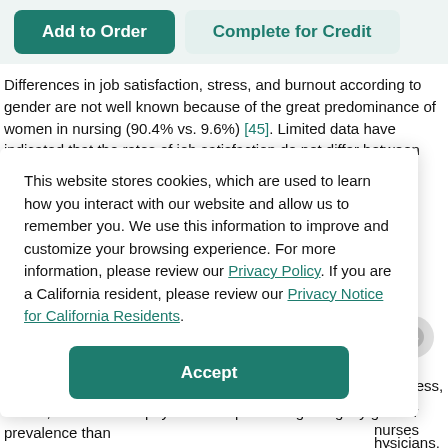[Figure (screenshot): Two buttons: 'Add to Order' (teal filled) and 'Complete for Credit' (light teal outline) on a light gray-green background header bar]
Differences in job satisfaction, stress, and burnout according to gender are not well known because of the great predominance of women in nursing (90.4% vs. 9.6%) [45]. Limited data have indicated that the rates of job satisfaction do not differ between male and female nurses [77]. No studies were found in which rates of burnout were compared for male and female nurses working in the United States. However, one meta-analysis demonstrated that the rates of
This website stores cookies, which are used to learn how you interact with our website and allow us to remember you. We use this information to improve and customize your browsing experience. For more information, please review our Privacy Policy. If you are a California resident, please review our Privacy Notice for California Residents.
States, with Chinese physicians experiencing a slightly greater prevalence than